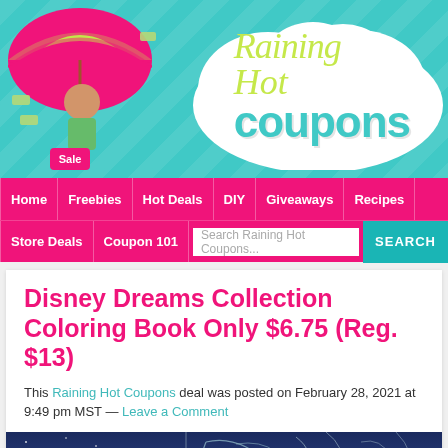[Figure (logo): Raining Hot Coupons website banner with teal chevron background, cartoon woman with umbrella, and logo text 'Raining Hot coupons']
Home | Freebies | Hot Deals | DIY | Giveaways | Recipes
Store Deals | Coupon 101 | Search Raining Hot Coupons... | SEARCH
Disney Dreams Collection Coloring Book Only $6.75 (Reg. $13)
This Raining Hot Coupons deal was posted on February 28, 2021 at 9:49 pm MST — Leave a Comment
[Figure (photo): Coloring book page showing Disney-themed line art illustration]